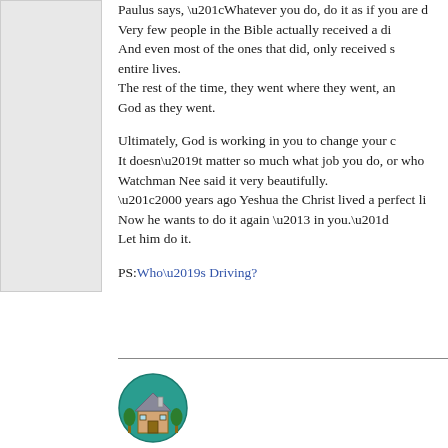Paulus says, “Whatever you do, do it as if you are d… Very few people in the Bible actually received a dir… And even most of the ones that did, only received s… entire lives. The rest of the time, they went where they went, an… God as they went.

Ultimately, God is working in you to change your c… It doesn’t matter so much what job you do, or who… Watchman Nee said it very beautifully. “2000 years ago Yeshua the Christ lived a perfect li… Now he wants to do it again – in you.” Let him do it.

PS: Who’s Driving?
[Figure (illustration): Circular logo with a cartoon house and trees in teal/green border]